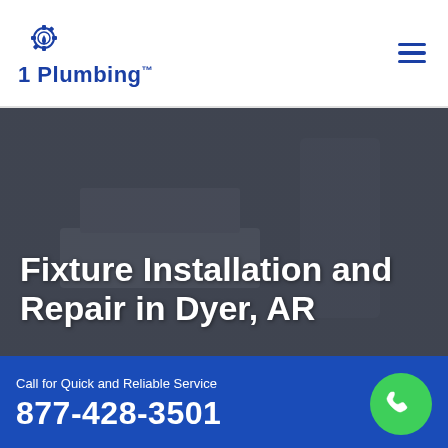1 Plumbing™
Fixture Installation and Repair in Dyer, AR
Home > Dyer > Fixture Installation and Repair Dyer
Dyer, AR Plumbers Are Skilled For All Types of Bathroom Fixture Installation in Dyer, AR Including Shower Faucet
Call for Quick and Reliable Service
877-428-3501